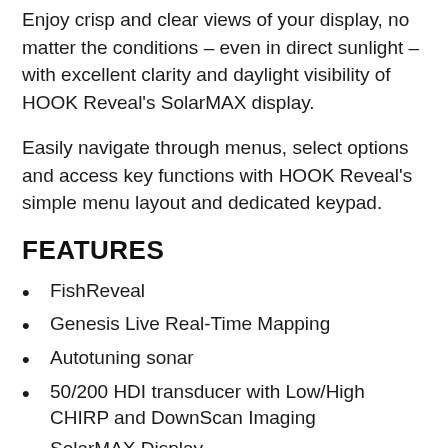Enjoy crisp and clear views of your display, no matter the conditions – even in direct sunlight – with excellent clarity and daylight visibility of HOOK Reveal's SolarMAX display.
Easily navigate through menus, select options and access key functions with HOOK Reveal's simple menu layout and dedicated keypad.
FEATURES
FishReveal
Genesis Live Real-Time Mapping
Autotuning sonar
50/200 HDI transducer with Low/High CHIRP and DownScan Imaging
SolarMAX Display
New fish-finding colour palettes
Optimized keypad with one-touch access to